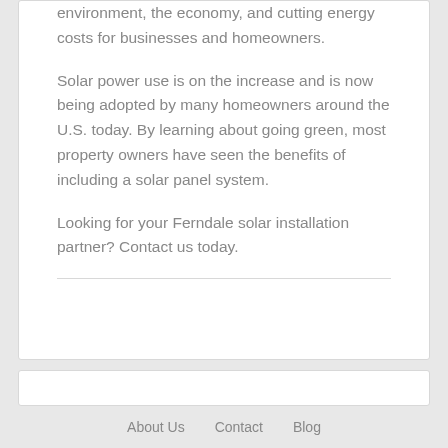environment, the economy, and cutting energy costs for businesses and homeowners.
Solar power use is on the increase and is now being adopted by many homeowners around the U.S. today. By learning about going green, most property owners have seen the benefits of including a solar panel system.
Looking for your Ferndale solar installation partner? Contact us today.
About Us   Contact   Blog